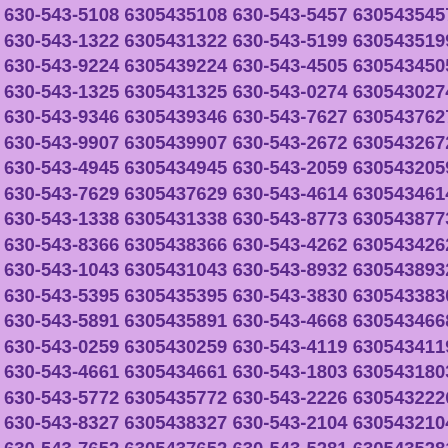630-543-5108 6305435108 630-543-5457 6305435457 630-543-1322 6305431322 630-543-5199 6305435199 630-543-9224 6305439224 630-543-4505 6305434505 630-543-1325 6305431325 630-543-0274 6305430274 630-543-9346 6305439346 630-543-7627 6305437627 630-543-9907 6305439907 630-543-2672 6305432672 630-543-4945 6305434945 630-543-2059 6305432059 630-543-7629 6305437629 630-543-4614 6305434614 630-543-1338 6305431338 630-543-8773 6305438773 630-543-8366 6305438366 630-543-4262 6305434262 630-543-1043 6305431043 630-543-8932 6305438932 630-543-5395 6305435395 630-543-3830 6305433830 630-543-5891 6305435891 630-543-4668 6305434668 630-543-0259 6305430259 630-543-4119 6305434119 630-543-4661 6305434661 630-543-1803 6305431803 630-543-5772 6305435772 630-543-2226 6305432226 630-543-8327 6305438327 630-543-2104 6305432104 630-543-7652 6305437652 630-543-5281 6305435281 630-543-6676 6305436676 630-543-3842 6305433842 630-543-0190 6305430190 630-543-5918 6305435918 630-543-0457 6305430457 630-543-7820 6305437820